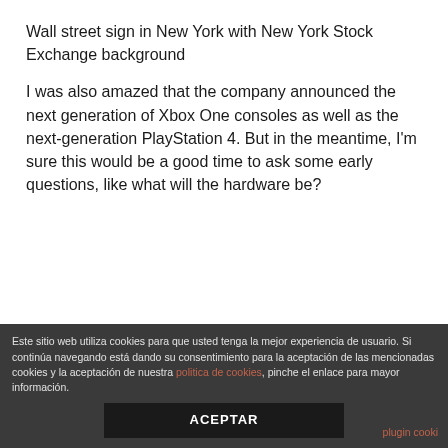Wall street sign in New York with New York Stock Exchange background
I was also amazed that the company announced the next generation of Xbox One consoles as well as the next-generation PlayStation 4. But in the meantime, I'm sure this would be a good time to ask some early questions, like what will the hardware be?
Este sitio web utiliza cookies para que usted tenga la mejor experiencia de usuario. Si continúa navegando está dando su consentimiento para la aceptación de las mencionadas cookies y la aceptación de nuestra politica de cookies, pinche el enlace para mayor información. ACEPTAR plugin cooki